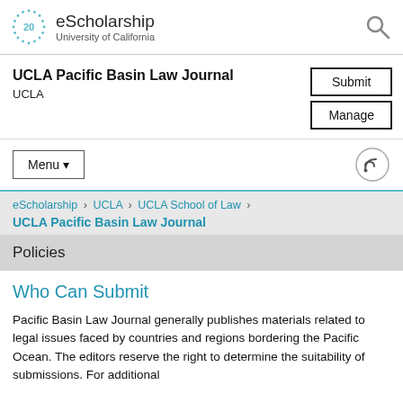eScholarship — University of California
UCLA Pacific Basin Law Journal
UCLA
Submit | Manage
Menu ▼
eScholarship > UCLA > UCLA School of Law > UCLA Pacific Basin Law Journal
Policies
Who Can Submit
Pacific Basin Law Journal generally publishes materials related to legal issues faced by countries and regions bordering the Pacific Ocean. The editors reserve the right to determine the suitability of submissions. For additional